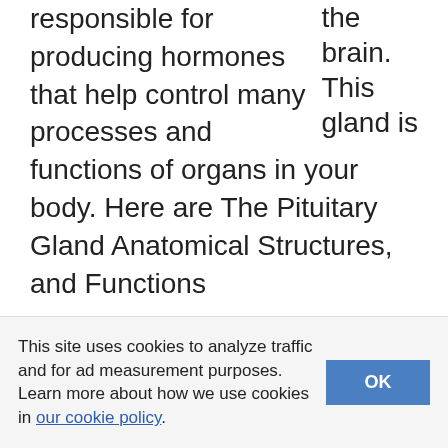the brain. This gland is responsible for producing hormones that help control many processes and functions of organs in your body. Here are The Pituitary Gland Anatomical Structures, and Functions
Filed Under: Brain, Spinal Cord, and Nerve
Tagged With: pituitary, pituitary gland
This site uses cookies to analyze traffic and for ad measurement purposes. Learn more about how we use cookies in our cookie policy.